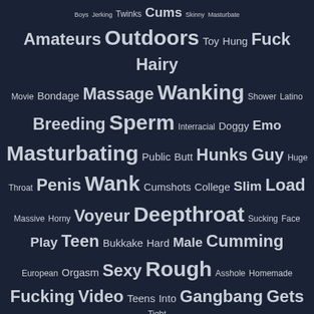[Figure (infographic): Word cloud on dark navy background with adult content tags in varying font sizes and white/light gray colors]